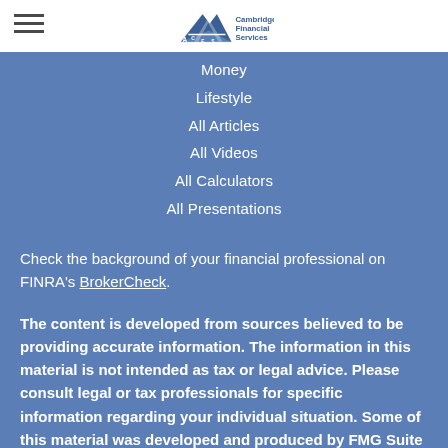[Figure (logo): Cambridge Financial Services logo with triangle/mountain graphic and text]
Money
Lifestyle
All Articles
All Videos
All Calculators
All Presentations
Check the background of your financial professional on FINRA's BrokerCheck.
The content is developed from sources believed to be providing accurate information. The information in this material is not intended as tax or legal advice. Please consult legal or tax professionals for specific information regarding your individual situation. Some of this material was developed and produced by FMG Suite to provide information on a topic that may be of interest. FMG Suite is not affiliated with the named representative, broker -